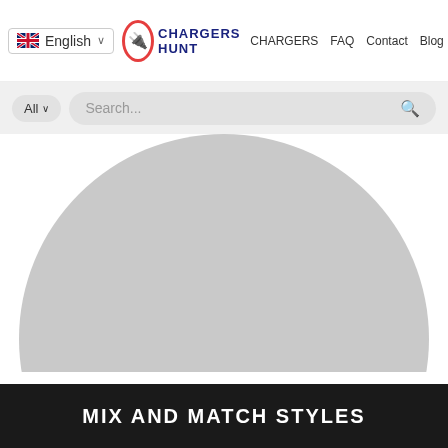English | CHARGERS HUNT | CHARGERS | FAQ | Contact | Blog | 0
All  Search...
[Figure (illustration): Large circular gray avatar placeholder with name 'NINA LACY' and role 'SUPPORT NINJA', and three social media icon buttons (Facebook, Twitter, Pinterest)]
MIX AND MATCH STYLES